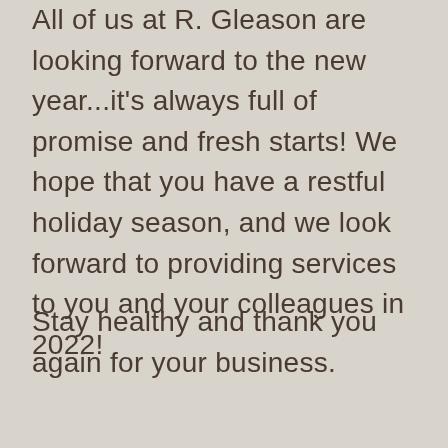All of us at R. Gleason are looking forward to the new year...it's always full of promise and fresh starts! We hope that you have a restful holiday season, and we look forward to providing services to you and your colleagues in 2022!
Stay healthy and thank you again for your business.